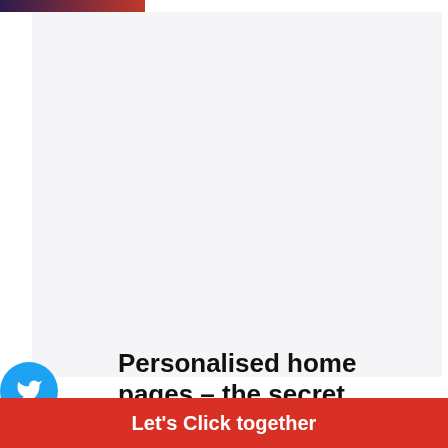[Figure (other): Top decorative gradient bar (purple to red)]
[Figure (other): Light gray background content area]
[Figure (other): Twitter social share icon (blue circle with bird)]
[Figure (other): Facebook social share icon (blue circle with f)]
[Figure (other): LinkedIn social share icon (blue circle with in)]
Personalised home pages – the secret ingredient to lead conversion
Digital Media Buying  |  Technology & UX
Leave a comment
Let's Click together